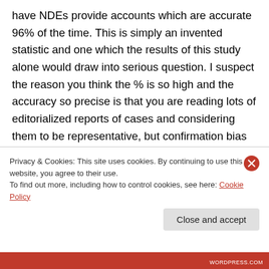have NDEs provide accounts which are accurate 96% of the time. This is simply an invented statistic and one which the results of this study alone would draw into serious question. I suspect the reason you think the % is so high and the accuracy so precise is that you are reading lots of editorialized reports of cases and considering them to be representative, but confirmation bias alone means that 'hits' are likely to be over estimated and when you add to that researcher bias and delays of years, you
Privacy & Cookies: This site uses cookies. By continuing to use this website, you agree to their use.
To find out more, including how to control cookies, see here: Cookie Policy
Close and accept